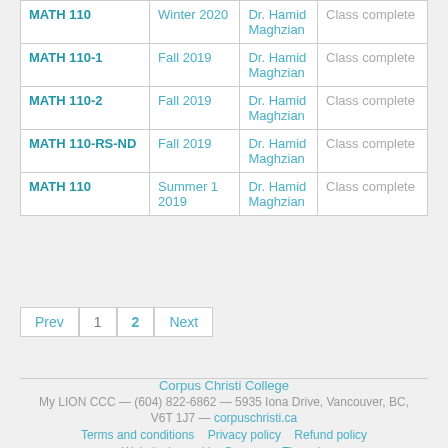| Course | Term | Instructor | Status |
| --- | --- | --- | --- |
| MATH 110 | Winter 2020 | Dr. Hamid Maghzian | Class complete |
| MATH 110-1 | Fall 2019 | Dr. Hamid Maghzian | Class complete |
| MATH 110-2 | Fall 2019 | Dr. Hamid Maghzian | Class complete |
| MATH 110-RS-ND | Fall 2019 | Dr. Hamid Maghzian | Class complete |
| MATH 110 | Summer 1 2019 | Dr. Hamid Maghzian | Class complete |
Prev  1  2  Next
Corpus Christi College
My LION CCC — (604) 822-6862 — 5935 Iona Drive, Vancouver, BC, V6T 1J7 — corpuschristi.ca
Terms and conditions    Privacy policy    Refund policy
Website hosted by Gossamer Threads